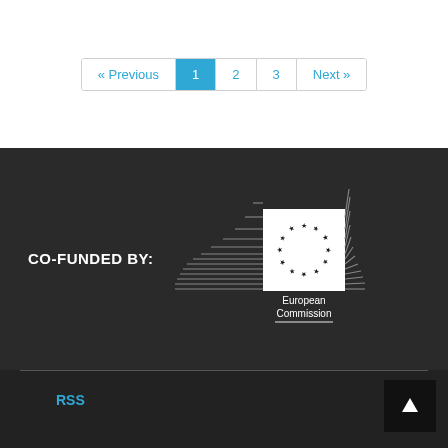« Previous  1  2  3  Next »
[Figure (logo): European Commission logo with circle of stars on a white square background, flanked by stylized parallel line graphics on dark background]
CO-FUNDED BY:
European Commission
RSS